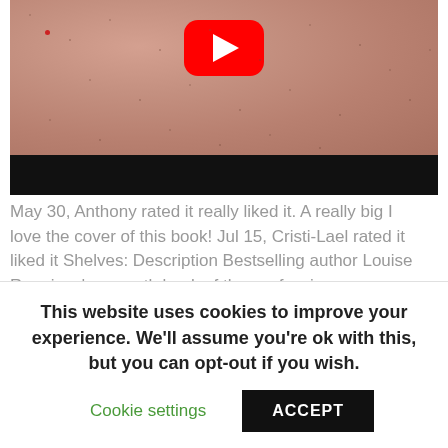[Figure (screenshot): A YouTube video thumbnail showing a close-up of human skin (chest/neck area) with a red YouTube play button overlay and a black bar at the bottom.]
May 30, Anthony rated it really liked it. A really big I love the cover of this book! Jul 15, Cristi-Lael rated it liked it Shelves: Description Bestselling author Louise Rennison's seventh book of the confessions
This website uses cookies to improve your experience. We'll assume you're ok with this, but you can opt-out if you wish.
Cookie settings
ACCEPT